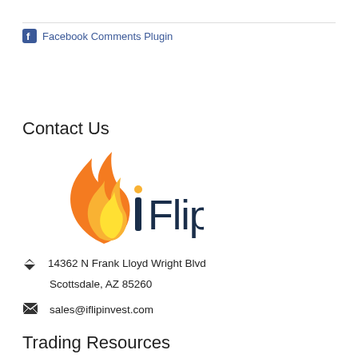Facebook Comments Plugin
Contact Us
[Figure (logo): iFlip logo with flame graphic and 'iFlip' text]
14362 N Frank Lloyd Wright Blvd Scottsdale, AZ 85260
sales@iflipinvest.com
Trading Resources